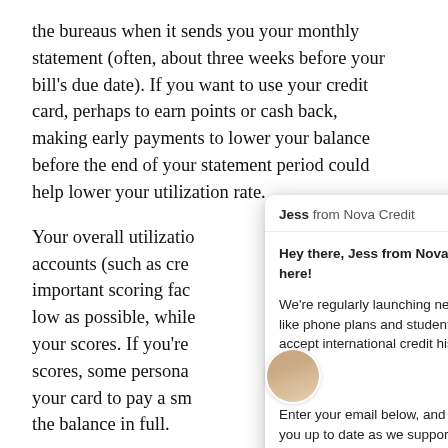the bureaus when it sends you your monthly statement (often, about three weeks before your bill's due date). If you want to use your credit card, perhaps to earn points or cash back, making early payments to lower your balance before the end of your statement period could help lower your utilization rate.
Your overall utilization across all revolving accounts (such as credit cards) is another important scoring factor. Try to keep both as low as possible, while still using cards to boost your scores. If you're working on building your scores, some personal finance experts suggest using your card to pay a small, regular bill and paying the balance in full.
Keep credit cards open. Unless you find yourself overspending with your credit card, or your card issuer
[Figure (screenshot): Chat popup from Jess from Nova Credit. Header: 'Jess from Nova Credit' with close X button. Body messages: 'Hey there, Jess from Nova Credit here!', 'We're regularly launching new products like phone plans and student loans that accept international credit history. 🚀 📻 💳', 'Enter your email below, and we'll keep you up to date as we support more products!'. With avatar bubble and next arrow button.]